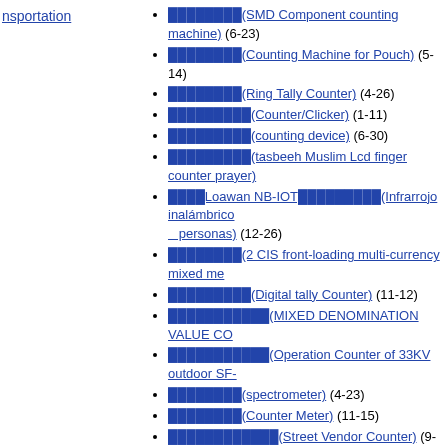nsportation
████████(SMD Component counting machine) (6-23)
████████(Counting Machine for Pouch) (5-14)
████████(Ring Tally Counter) (4-26)
█████████(Counter/Clicker) (1-11)
█████████(counting device) (6-30)
█████████(tasbeeh Muslim Lcd finger counter prayer)
████Loawan NB-IOT█████████(Infrarrojo inalámbrico personas) (12-26)
████████(2 CIS front-loading multi-currency mixed me
█████████(Digital tally Counter) (11-12)
███████████(MIXED DENOMINATION VALUE CO
███████████(Operation Counter of 33KV outdoor SF-
████████(spectrometer) (4-23)
████████(Counter Meter) (11-15)
████████████(Street Vendor Counter) (9-14)
███████████(Timer and Blower) (6-27)
█████████(counting machine) (3-24)
█████████(EOP Digital Carrier) (10-23)
████████(Counter) (4-19)
█████████(people counter) (4-18)
██████████(Counter) (4-18)